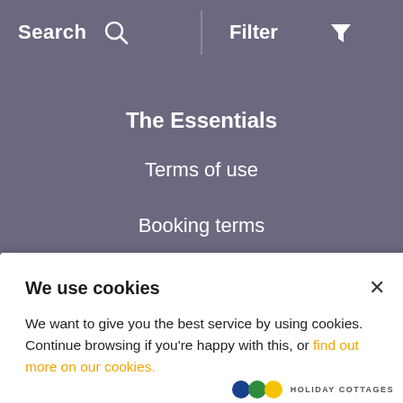Search   Filter
The Essentials
Terms of use
Booking terms
FAQs
Privacy
We use cookies
We want to give you the best service by using cookies. Continue browsing if you're happy with this, or find out more on our cookies.